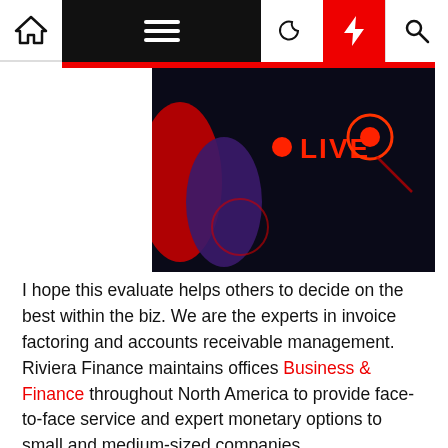[Figure (screenshot): Website navigation bar with home icon, hamburger menu on black background, moon icon, red lightning bolt icon, and search icon]
[Figure (photo): Dark-themed live broadcast thumbnail image showing a red dot with LIVE text and a circular red record button icon on a dark background]
I hope this evaluate helps others to decide on the best within the biz. We are the experts in invoice factoring and accounts receivable management. Riviera Finance maintains offices Business & Finance throughout North America to provide face-to-face service and expert monetary options to small and medium-sized companies.
Colleges And Schools
There's never been a better time to attach with the finance program at Rice. Our school's research specialties include all main areas, from corporate